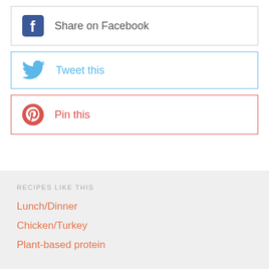Share on Facebook
Tweet this
Pin this
RECIPES LIKE THIS
Lunch/Dinner
Chicken/Turkey
Plant-based protein